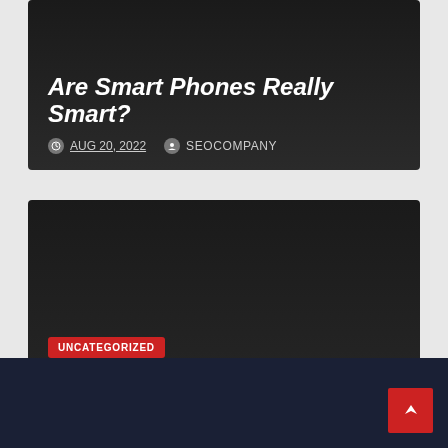Are Smart Phones Really Smart?
AUG 20, 2022  SEOCOMPANY
UNCATEGORIZED
Bagaimana Cara Memenangkan Jackpot di
AUG 17, 2022  SEOCOMPANY